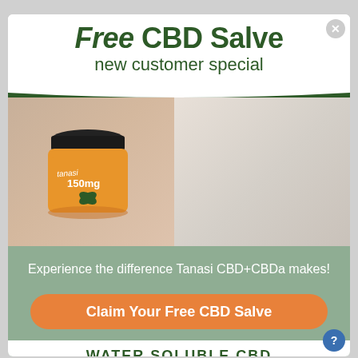Free CBD Salve
new customer special
[Figure (photo): Left: hand holding a Tanasi CBD salve jar (150mg, orange label) extended toward viewer with salve on fingertip. Right: smiling blonde woman in white top applying salve from small jar.]
Experience the difference Tanasi CBD+CBDa makes!
Claim Your Free CBD Salve
WATER SOLUBLE CBD